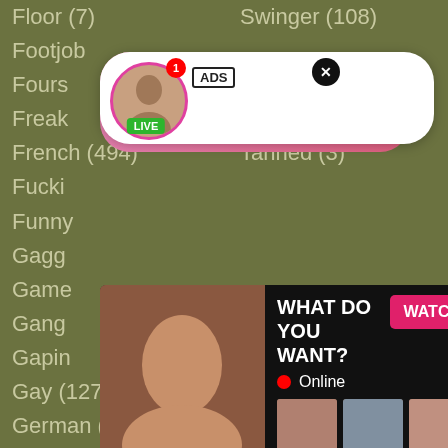Floor (7)
Swinger (108)
Footjob
Fours
Freak
Tanned (3)
French (494)
Fucki
Funny
Gagg
Game
Gang
Gapin
Gay (127)
Thong (7)
German (741)
Threesome (692)
Ghetto (8)
Throat (679)
Giant (29)
Tied (67)
Girl (2055)
Tight (321)
Girlfriend (204)
Tiny (93)
Giving (30)
Tits (2848)
[Figure (screenshot): Live notification popup showing user Jeniffer 2000 with LIVE badge and timer (00:12), pink gradient background, close button]
[Figure (screenshot): Adult ad popup with image on left, text WHAT DO YOU WANT?, WATCH button, Online indicator, thumbnail images, text Cumming, ass fucking, squirt or..., ADS label, close X button]